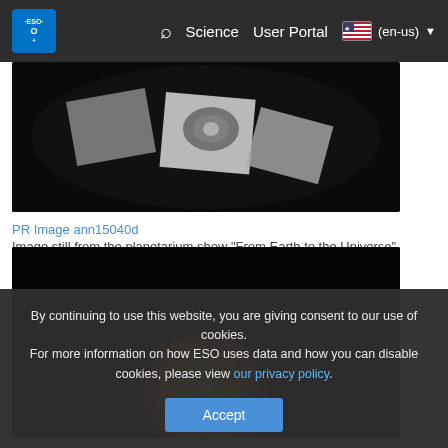ESO — Science | User Portal | (en-us)
[Figure (photo): Grayscale image composite showing photographic plates against a dark circular background, from the planetarium show 'From Earth to the Universe']
PR Image ann15040d
Image still from the planetarium show "From Earth to the Universe"
[Figure (photo): Colorized image of the Sun glowing in orange and yellow against a black background, showing solar corona and surface details]
By continuing to use this website, you are giving consent to our use of cookies.
For more information on how ESO uses data and how you can disable cookies, please view our privacy policy.
Accept